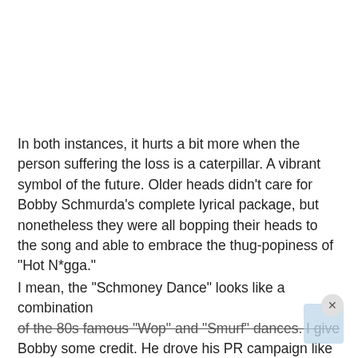In both instances, it hurts a bit more when the person suffering the loss is a caterpillar. A vibrant symbol of the future. Older heads didn't care for Bobby Schmurda's complete lyrical package, but nonetheless they were all bopping their heads to the song and able to embrace the thug-popiness of "Hot N*gga."
I mean, the "Schmoney Dance" looks like a combination of the 80s famous "Wop" and "Smurf" dances. I give Bobby some credit. He drove his PR campaign like